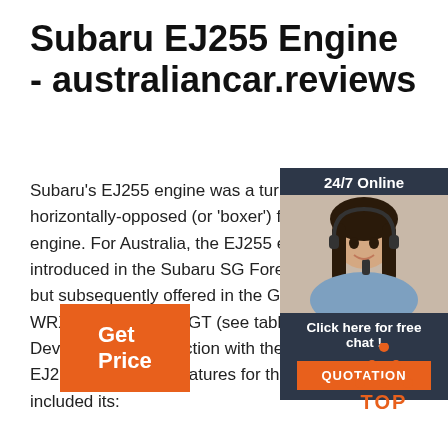Subaru EJ255 Engine - australiancar.reviews
Subaru's EJ255 engine was a turbocharged, horizontally-opposed (or 'boxer') four-cylinder engine. For Australia, the EJ255 engine was introduced in the Subaru SG Forester XT but subsequently offered in the GD/GG WRX and BL Liberty GT (see table below). Developed in conjunction with the more powerful EJ257 engine, key features for the EJ255 engine included its:
[Figure (photo): Customer support woman with headset, 24/7 Online chat widget with orange QUOTATION button]
[Figure (infographic): TOP button with orange triangle dots icon and red-orange TOP text]
[Figure (other): Orange Get Price button]